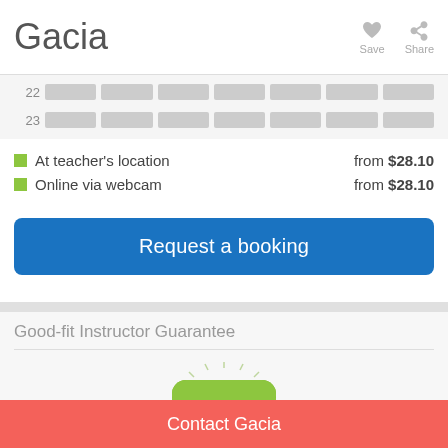Gacia
[Figure (screenshot): Save and Share icon buttons in the page header]
[Figure (table-as-image): Calendar availability grid showing rows 22 and 23 with grey cells]
At teacher's location — from $28.10
Online via webcam — from $28.10
Request a booking
Good-fit Instructor Guarantee
[Figure (illustration): 100% Satisfaction green badge with radiating lines]
Contact Gacia